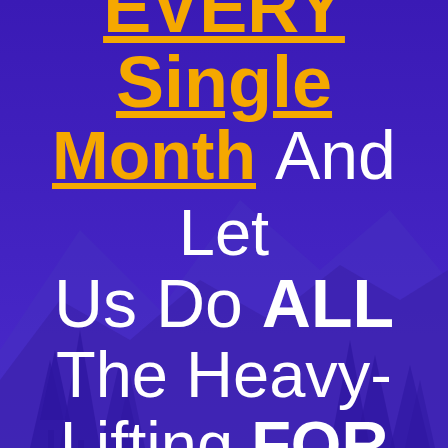[Figure (illustration): Purple background with silhouette of pine trees and mountains at the bottom, decorative background for promotional text]
EVERY Single Month And Let Us Do ALL The Heavy-Lifting FOR